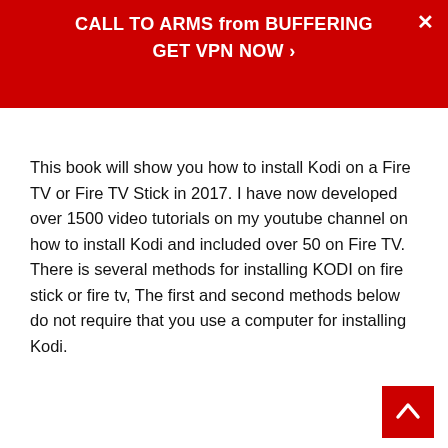CALL TO ARMS from BUFFERING GET VPN NOW ›
This book will show you how to install Kodi on a Fire TV or Fire TV Stick in 2017. I have now developed over 1500 video tutorials on my youtube channel on how to install Kodi and included over 50 on Fire TV.  There is several methods for installing KODI on fire stick or fire tv, The first and second methods below do not require that you use a computer for installing Kodi.